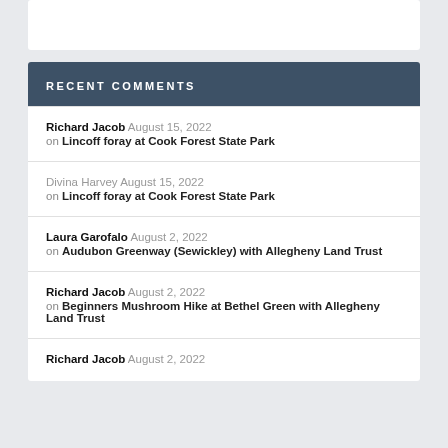RECENT COMMENTS
Richard Jacob August 15, 2022 on Lincoff foray at Cook Forest State Park
Divina Harvey August 15, 2022 on Lincoff foray at Cook Forest State Park
Laura Garofalo August 2, 2022 on Audubon Greenway (Sewickley) with Allegheny Land Trust
Richard Jacob August 2, 2022 on Beginners Mushroom Hike at Bethel Green with Allegheny Land Trust
Richard Jacob August 2, 2022